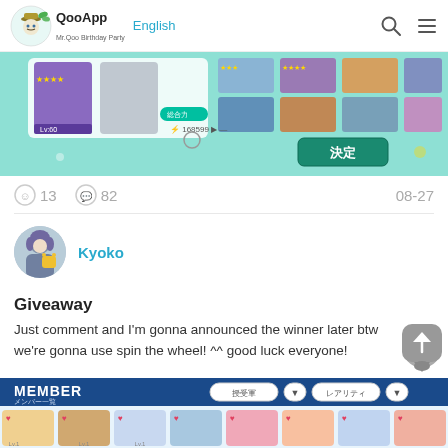QooApp English
[Figure (screenshot): Mobile game screenshot showing character selection/team screen with teal background, character cards, stats showing 168599, and a green decision button with Japanese text 決定]
13  82  08-27
Kyoko
Giveaway
Just comment and I'm gonna announced the winner later btw we're gonna use spin the wheel! ^^ good luck everyone!
[Figure (screenshot): Mobile game MEMBER screen showing character cards with Japanese text メンバー一覧, filter buttons 授受軍 and レアリティ, and a row of anime character cards]